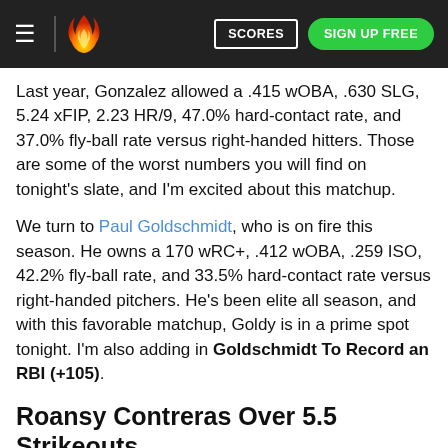SCORES | SIGN UP FREE
Last year, Gonzalez allowed a .415 wOBA, .630 SLG, 5.24 xFIP, 2.23 HR/9, 47.0% hard-contact rate, and 37.0% fly-ball rate versus right-handed hitters. Those are some of the worst numbers you will find on tonight's slate, and I'm excited about this matchup.
We turn to Paul Goldschmidt, who is on fire this season. He owns a 170 wRC+, .412 wOBA, .259 ISO, 42.2% fly-ball rate, and 33.5% hard-contact rate versus right-handed pitchers. He's been elite all season, and with this favorable matchup, Goldy is in a prime spot tonight. I'm also adding in Goldschmidt To Record an RBI (+105).
Roansy Contreras Over 5.5 Strikeouts (+105)